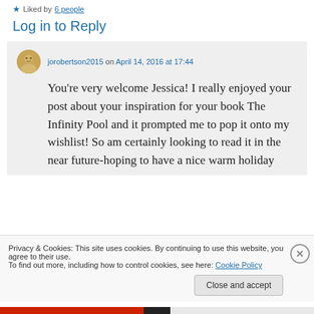Liked by 6 people
Log in to Reply
jorobertson2015 on April 14, 2016 at 17:44
You’re very welcome Jessica! I really enjoyed your post about your inspiration for your book The Infinity Pool and it prompted me to pop it onto my wishlist! So am certainly looking to read it in the near future-hoping to have a nice warm holiday
Privacy & Cookies: This site uses cookies. By continuing to use this website, you agree to their use.
To find out more, including how to control cookies, see here: Cookie Policy
Close and accept